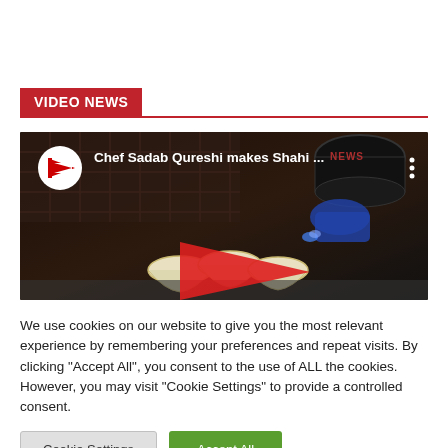VIDEO NEWS
[Figure (screenshot): YouTube video thumbnail showing Chef Sadab Qureshi makes Shahi ... with dark kitchen background, bowls, and red play button overlay]
We use cookies on our website to give you the most relevant experience by remembering your preferences and repeat visits. By clicking "Accept All", you consent to the use of ALL the cookies. However, you may visit "Cookie Settings" to provide a controlled consent.
Cookie Settings | Accept All